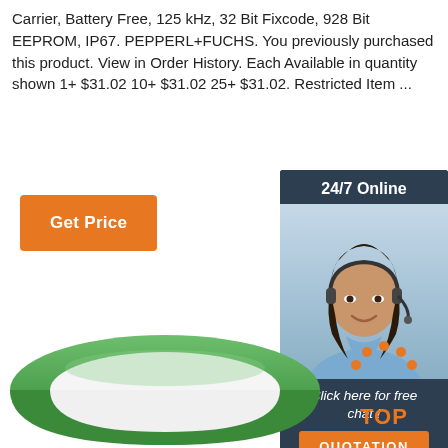Carrier, Battery Free, 125 kHz, 32 Bit Fixcode, 928 Bit EEPROM, IP67. PEPPERL+FUCHS. You previously purchased this product. View in Order History. Each Available in quantity shown 1+ $31.02 10+ $31.02 25+ $31.02. Restricted Item ...
[Figure (other): Orange 'Get Price' button]
[Figure (other): 24/7 online chat widget with photo of woman wearing headset, 'Click here for free chat!' text, and orange QUOTATION button]
[Figure (other): Green RFID wristband/carrier product photo at bottom of page]
[Figure (other): Orange dotted TOP badge/logo in bottom right corner]